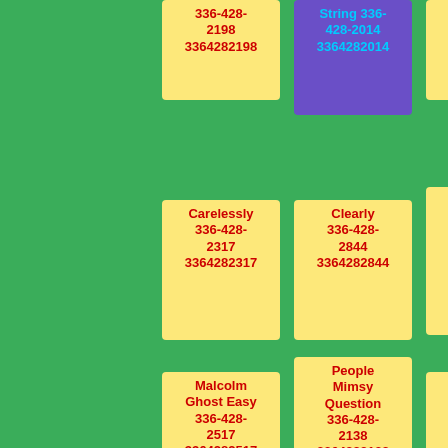336-428-2198 3364282198
String 336-428-2014 3364282014
Trans 336-428-2789 3364282789
Carelessly 336-428-2317 3364282317
Clearly 336-428-2844 3364282844
Swear Christmas 336-428-2961 3364282961
Malcolm Ghost Easy 336-428-2517 3364282517
People Mimsy Question 336-428-2138 3364282138
Moren 336-428-2287 3364282287
Hold 336-428-2786
Forest 336-428-2963
Fitted Theyre 336-428-2607